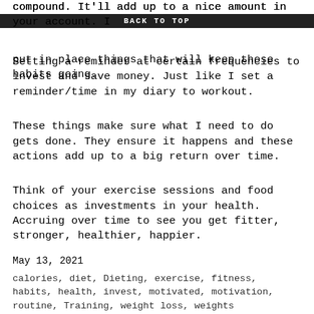compound. It'll add up to a nice amount in your account. I put in place things that will keep those habits going.
BACK TO TOP
Setting a reminder at certain frequencies to invest and save money. Just like I set a reminder/time in my diary to workout.
These things make sure what I need to do gets done. They ensure it happens and these actions add up to a big return over time.
Think of your exercise sessions and food choices as investments in your health. Accruing over time to see you get fitter, stronger, healthier, happier.
May 13, 2021
calories, diet, Dieting, exercise, fitness, habits, health, invest, motivated, motivation, routine, Training, weight loss, weights